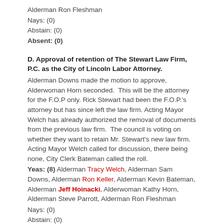Alderman Ron Fleshman
Nays: (0)
Abstain: (0)
Absent: (0)
D. Approval of retention of The Stewart Law Firm, P.C. as the City of Lincoln Labor Attorney.
Alderman Downs made the motion to approve, Alderwoman Horn seconded.  This will be the attorney for the F.O.P only. Rick Stewart had been the F.O.P.'s attorney but has since left the law firm. Acting Mayor Welch has already authorized the removal of documents from the previous law firm.  The council is voting on whether they want to retain Mr. Stewart's new law firm. Acting Mayor Welch called for discussion, there being none, City Clerk Bateman called the roll.
Yeas: (8) Alderman Tracy Welch, Alderman Sam Downs, Alderman Ron Keller, Alderman Kevin Bateman, Alderman Jeff Hoinacki, Alderwoman Kathy Horn, Alderman Steve Parrott, Alderman Ron Fleshman
Nays: (0)
Abstain: (0)
Absent: (0)